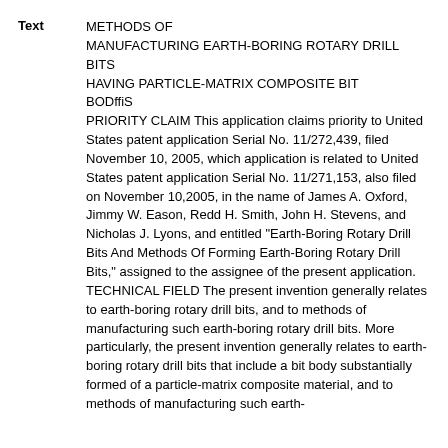METHODS OF MANUFACTURING EARTH-BORING ROTARY DRILL BITS HAVING PARTICLE-MATRIX COMPOSITE BIT BODffiS PRIORITY CLAIM This application claims priority to United States patent application Serial No. 11/272,439, filed November 10, 2005, which application is related to United States patent application Serial No. 11/271,153, also filed on November 10,2005, in the name of James A. Oxford, Jimmy W. Eason, Redd H. Smith, John H. Stevens, and Nicholas J. Lyons, and entitled "Earth-Boring Rotary Drill Bits And Methods Of Forming Earth-Boring Rotary Drill Bits," assigned to the assignee of the present application. TECHNICAL FIELD The present invention generally relates to earth-boring rotary drill bits, and to methods of manufacturing such earth-boring rotary drill bits. More particularly, the present invention generally relates to earth-boring rotary drill bits that include a bit body substantially formed of a particle-matrix composite material, and to methods of manufacturing such earth-